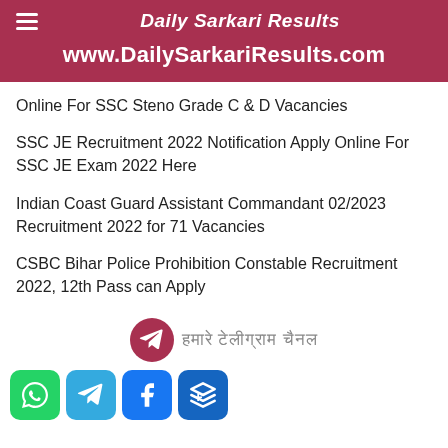Daily Sarkari Results
www.DailySarkariResults.com
Online For SSC Steno Grade C & D Vacancies
SSC JE Recruitment 2022 Notification Apply Online For SSC JE Exam 2022 Here
Indian Coast Guard Assistant Commandant 02/2023 Recruitment 2022 for 71 Vacancies
CSBC Bihar Police Prohibition Constable Recruitment 2022, 12th Pass can Apply
[Figure (other): Telegram channel link button with Hindi text and social share buttons (WhatsApp, Telegram, Facebook, More)]